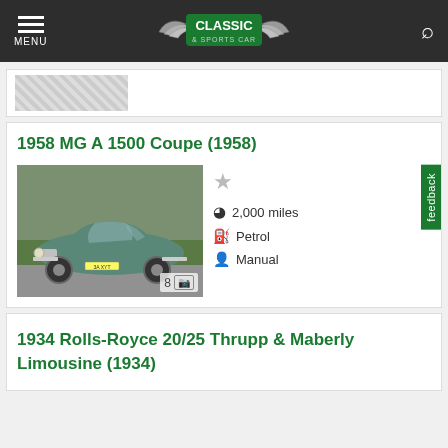MENU | Classic & Sports Car | Search
[Figure (screenshot): Partial car listing card showing bottom of a car image (grey/checkered)]
1958 MG A 1500 Coupe (1958)
[Figure (photo): Photo of a 1958 MG A 1500 Coupe in light green/teal colour parked on a brick driveway with grass and trees in background]
2,000 miles
Petrol
Manual
1934 Rolls-Royce 20/25 Thrupp & Maberly Limousine (1934)